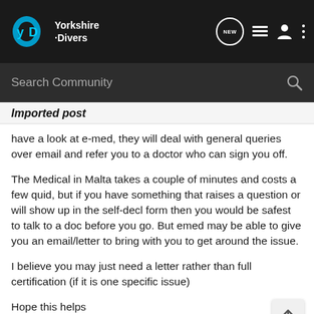[Figure (logo): Yorkshire Divers logo with blue swirl icon and white text on dark navbar]
Search Community
Imported post
have a look at e-med, they will deal with general queries over email and refer you to a doctor who can sign you off.
The Medical in Malta takes a couple of minutes and costs a few quid, but if you have something that raises a question or will show up in the self-decl form then you would be safest to talk to a doc before you go. But emed may be able to give you an email/letter to bring with you to get around the issue.
I believe you may just need a letter rather than full certification (if it is one specific issue)
Hope this helps